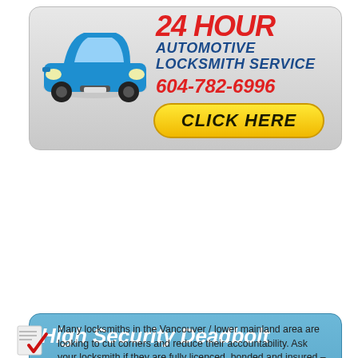[Figure (infographic): 24 HOUR AUTOMOTIVE LOCKSMITH SERVICE advertisement banner with blue car illustration, phone number 604-782-6996, and yellow CLICK HERE button]
[Figure (infographic): High Security Deadbolt SPECIAL $295.99 - INSTALLED - ALL HARDWARE & SERVICE INCLUDED advertisement on blue background with deadbolt lock photo]
Many locksmiths in the Vancouver / lower mainland area are looking to cut corners and reduce their accountability. Ask your locksmith if they are fully licenced, bonded and insured – like